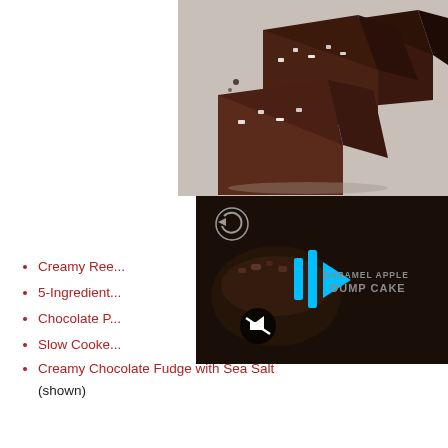[Figure (photo): Chocolate fudge squares with sea salt on a light surface, stacked and arranged. Dark brown rich fudge pieces with white sea salt flakes on top.]
[Figure (screenshot): Video overlay showing a dark scene with a bowl of food (caramel apple dump cake), with blue play/pause icon buttons in the center, a mute icon button (black circle with speaker crossed out), a circular refresh/replay icon top-left, and text 'CARAMEL APPLE DUMP CAKE' in gray on the right side.]
Creamy Ree...
5-Ingredient...
Chocolate P...
Slow Cooke...
Creamy Chocolate Fudge with Sea Salt (shown)